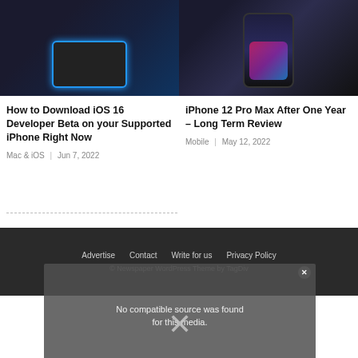[Figure (photo): Close-up of a dark phone case with blue trim/light, hand holding it]
How to Download iOS 16 Developer Beta on your Supported iPhone Right Now
Mac & iOS  |  Jun 7, 2022
[Figure (photo): Hand holding iPhone 12 Pro Max showing colorful app icons on screen]
iPhone 12 Pro Max After One Year – Long Term Review
Mobile  |  May 12, 2022
Advertise   Contact   Write for us   Privacy Policy
© Newspaper WordPress Theme by TagDiv
[Figure (screenshot): Video player overlay showing 'No compatible source was found for this media.' message with X close button]